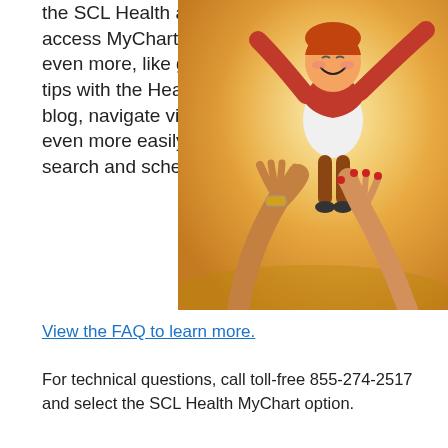the SCL Health app to access MyChart, you can do even more, like get health tips with the Health 360 blog, navigate virtual care even more easily, and search and schedule faster.
[Figure (photo): A joyful young child with red hair wearing a red and white outfit being tossed in the air by adults' hands against a warm sunny outdoor background with golden light.]
View the FAQ to learn more.
For technical questions, call toll-free 855-274-2517 and select the SCL Health MyChart option.